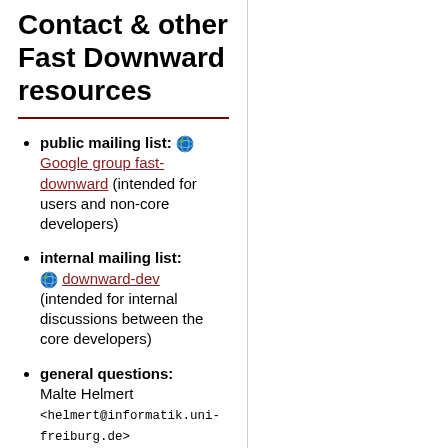Contact & other Fast Downward resources
public mailing list: Google group fast-downward (intended for users and non-core developers)
internal mailing list: downward-dev (intended for internal discussions between the core developers)
general questions: Malte Helmert <helmert@informatik.uni-freiburg.de>
issue tracker (for bugs and other issues):